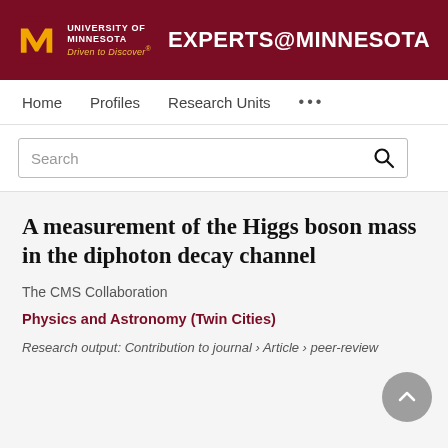UNIVERSITY OF MINNESOTA Driven to Discover® | EXPERTS@MINNESOTA
Home   Profiles   Research Units   ...
Search
A measurement of the Higgs boson mass in the diphoton decay channel
The CMS Collaboration
Physics and Astronomy (Twin Cities)
Research output: Contribution to journal › Article › peer-review